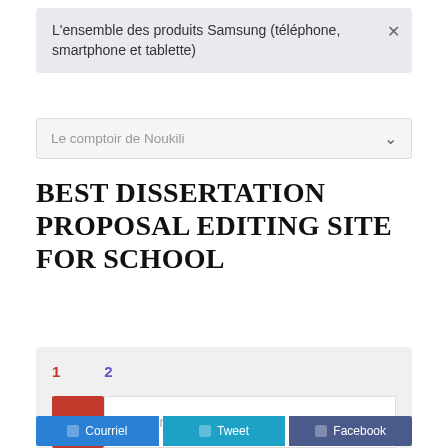L'ensemble des produits Samsung (téléphone, smartphone et tablette)
Le comptoir de Noukili
BEST DISSERTATION PROPOSAL EDITING SITE FOR SCHOOL
[Figure (screenshot): Pagination showing numbers 1 and 2, and a search bar with a red button and Recherche placeholder]
Courriel   Tweet   Facebook